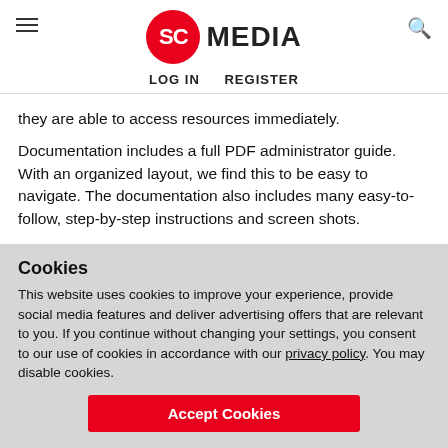SC MEDIA — LOG IN  REGISTER
they are able to access resources immediately.
Documentation includes a full PDF administrator guide. With an organized layout, we find this to be easy to navigate. The documentation also includes many easy-to-follow, step-by-step instructions and screen shots.
Fischer provides full, no-cost support to customers with the SurSafe…
Cookies
This website uses cookies to improve your experience, provide social media features and deliver advertising offers that are relevant to you. If you continue without changing your settings, you consent to our use of cookies in accordance with our privacy policy. You may disable cookies.
Accept Cookies